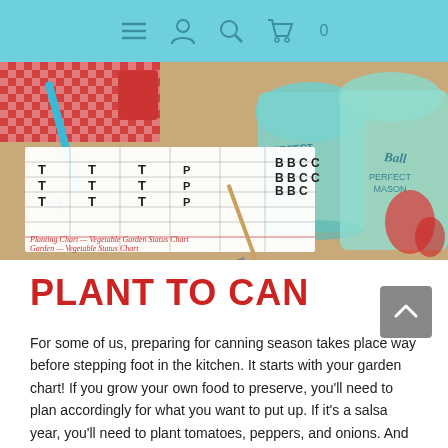Navigation bar with hamburger menu, user, search, and cart icons
[Figure (photo): A garden planning chart on paper surrounded by canning jars (Ball Mason jars in teal/aqua), a red checkered cloth, a blue pen, and scissors. The chart shows a grid with plant symbols (T for tomatoes, P for peppers, B for beans, C for cucumbers).]
PLANT TO CAN
For some of us, preparing for canning season takes place way before stepping foot in the kitchen. It starts with your garden chart! If you grow your own food to preserve, you'll need to plan accordingly for what you want to put up. If it's a salsa year, you'll need to plant tomatoes, peppers, and onions. And if your garden is like mine, you'll need to plant extra tomatoes in case a groundhog or raccoon stops